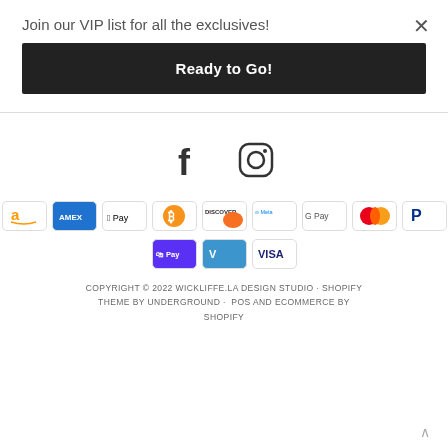Join our VIP list for all the exclusives!
Ready to Go!
[Figure (illustration): Facebook and Instagram social media icons]
[Figure (illustration): Payment method badges: Amazon, Amex, Apple Pay, Bitcoin, Discover, Meta Pay, Google Pay, Mastercard, PayPal, Shop Pay, Venmo, Visa]
COPYRIGHT © 2022 WICKLIFFE.LA DESIGN STUDIO · SHOPIFY THEME BY UNDERGROUND · POS AND ECOMMERCE BY SHOPIFY